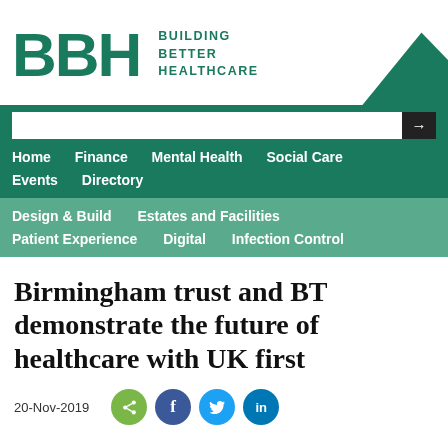[Figure (logo): BBH Building Better Healthcare logo with green triangle graphic in top right corner]
Home   Finance   Mental Health   Social Care   Events   Directory
Design & Build   Estates and Facilities   Patient Experience   Digital   Infection Control
Birmingham trust and BT demonstrate the future of healthcare with UK first
20-Nov-2019